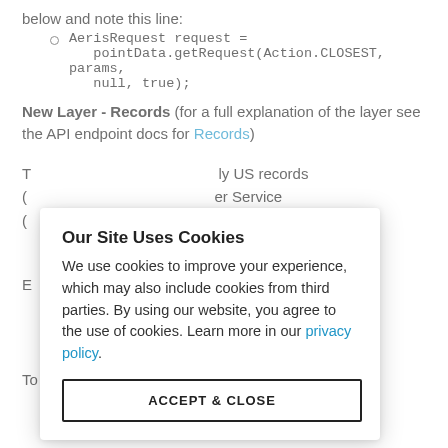below and note this line:
AerisRequest request = pointData.getRequest(Action.CLOSEST, params, null, true);
New Layer - Records (for a full explanation of the layer see the API endpoint docs for Records)
T... ly US records
( ... er Service
...t=500
E...
[Figure (other): Cookie consent modal overlay with title 'Our Site Uses Cookies', body text about cookie usage, a privacy policy link, and an ACCEPT & CLOSE button.]
To display the records layer with default parameters: